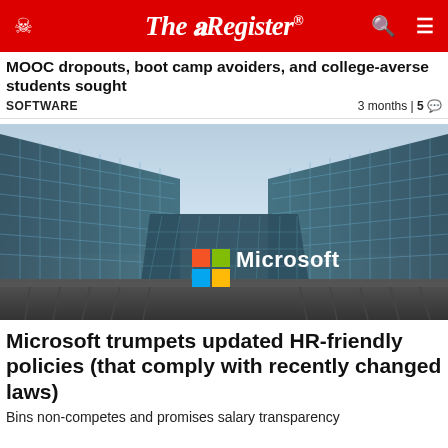The Register
MOOC dropouts, boot camp avoiders, and college-averse students sought
SOFTWARE    3 months | 5
[Figure (photo): Microsoft headquarters building with curved glass facade and Microsoft logo sign]
Microsoft trumpets updated HR-friendly policies (that comply with recently changed laws)
Bins non-competes and promises salary transparency